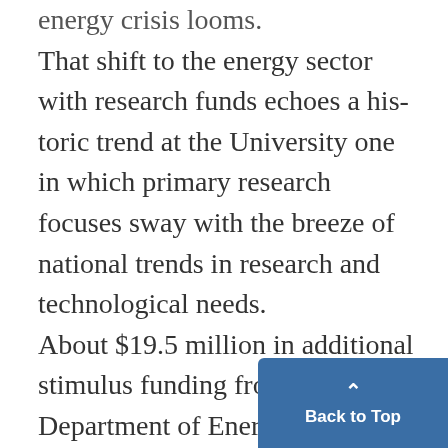energy crisis looms. That shift to the energy sector with research funds echoes a historic trend at the University one in which primary research focuses sway with the breeze of national trends in research and technological needs. About $19.5 million in additional stimulus funding from the U.S. Department of Energy has already been applied to the creation of the Energy Frontier Research Center -intended to develop new mate
Back to Top